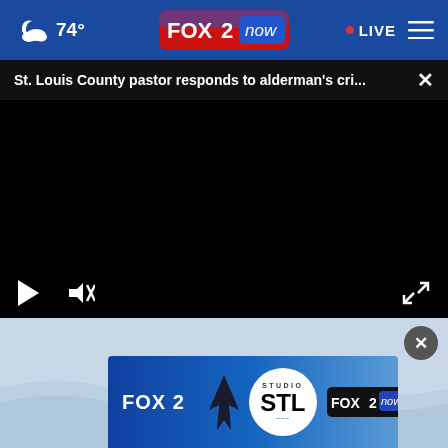74° FOX 2 now • LIVE
St. Louis County pastor responds to alderman's cri...
[Figure (screenshot): Black video player area with play button, mute button, and expand button controls at bottom]
[Figure (screenshot): FOX 2 Studio STL advertisement banner with shark silhouette and FOX 2 now logo on light blue background]